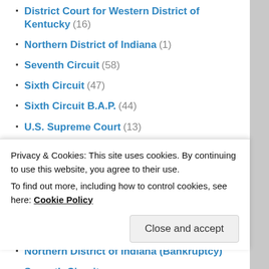District Court for Western District of Kentucky (16)
Northern District of Indiana (1)
Seventh Circuit (58)
Sixth Circuit (47)
Sixth Circuit B.A.P. (44)
U.S. Supreme Court (13)
Uncategorized (35)
COURTS
Eastern District of Kentucky
Eastern District of Kentucky (Bankruptcy)
Northern District of Indiana
Northern District of Indiana (Bankruptcy)
Seventh Circuit
Privacy & Cookies: This site uses cookies. By continuing to use this website, you agree to their use.
To find out more, including how to control cookies, see here: Cookie Policy